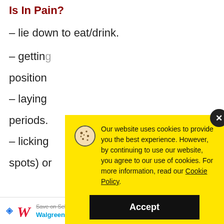How Do I Know If My Other Cat Is In Pain?
– lie down to eat/drink.
– getting [into a specific] position
– laying [down for extended] periods.
– licking [certain spots) or
[Figure (other): Cookie consent popup overlay with yellow background, cookie icon, text about cookie usage policy, and Accept button. Includes a close (x) button in top right corner.]
[Figure (other): Advertisement banner for Walgreens Photo showing logo and 'Save on Select Supplements' text with a blue diamond icon.]